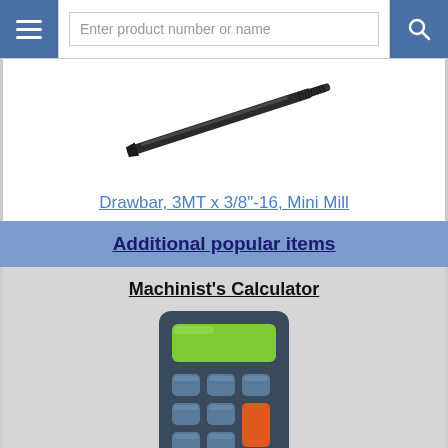Enter product number or name
[Figure (photo): A long thin metal drawbar rod with threaded end, shown diagonally against white background]
Drawbar, 3MT x 3/8"-16, Mini Mill
Additional popular items
Machinist's Calculator
[Figure (illustration): A calculator icon with dark grey body, green display screen, blue/grey digit buttons, and one orange key]
lmscnc.com/calc
[Figure (logo): OnlineMetals.com logo with bold black text and blue underline]